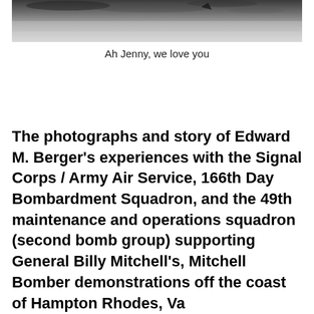[Figure (photo): Black and white photograph strip showing an indistinct aerial or landscape scene, partially cropped at top of page]
Ah Jenny, we love you
The photographs and story of Edward M. Berger’s experiences with the Signal Corps / Army Air Service, 166th Day Bombardment Squadron, and the 49th maintenance and operations squadron (second bomb group) supporting General Billy Mitchell’s, Mitchell Bomber demonstrations off the coast of Hampton Rhodes, Va